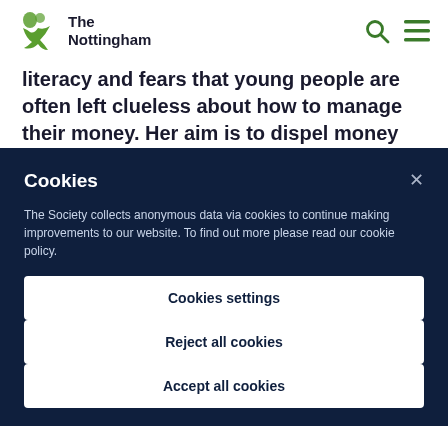The Nottingham
literacy and fears that young people are often left clueless about how to manage their money. Her aim is to dispel money myths and simplify financial jargon to help people
Cookies
The Society collects anonymous data via cookies to continue making improvements to our website. To find out more please read our cookie policy.
Cookies settings
Reject all cookies
Accept all cookies